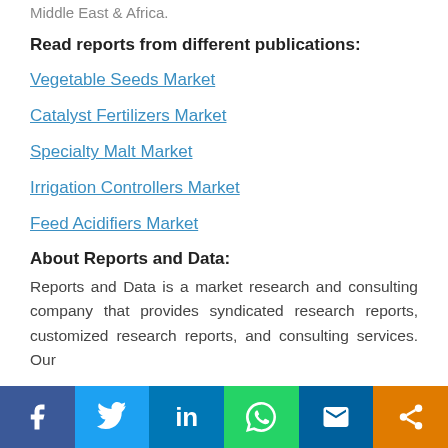Middle East & Africa.
Read reports from different publications:
Vegetable Seeds Market
Catalyst Fertilizers Market
Specialty Malt Market
Irrigation Controllers Market
Feed Acidifiers Market
About Reports and Data:
Reports and Data is a market research and consulting company that provides syndicated research reports, customized research reports, and consulting services. Our